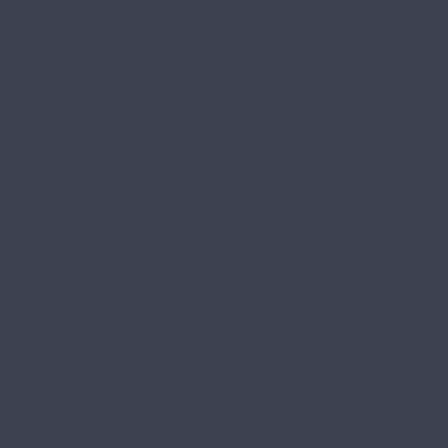through the day or when drugs are up. Drug addiction is a condition that dual condition, depending on the drug patients in Los Banos suffer from professionals in Los Banos, CA. belie with undiagnosed mental health prob a possible addiction problem, and the their social and family life, along with
What Does Recovery Involve?
Some drugs are taken out of the sys withdrawal symptoms. In many case prime example of this, and someone addicted to so that the individuals cer syndrome can cause seizures and in
When the detoxification process is extensive therapy process that will ta without using.
What Types of Programs Are There?
Generally, there are several types o Los Banos, California and most of available for the individual. Dependin he may decide to pick a particula sessions and for more extreme case rehab facility which will then remove a
However, many people in Los Banos time includes a cognitive behavioral t the individuals particular needs.
What Are The Advantages of Outpatie
Rehabilitation is rather exhausting Attending a Los Banos, California ou do not have comprehensive insu